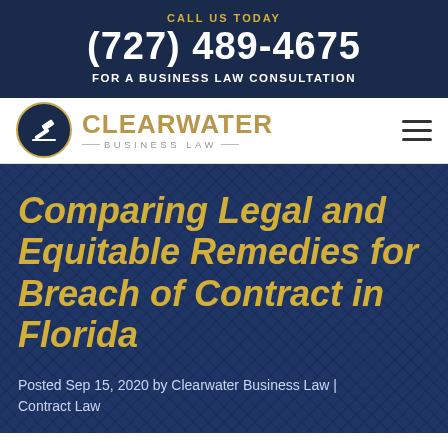CALL US TODAY
(727) 489-4675
FOR A BUSINESS LAW CONSULTATION
[Figure (logo): Clearwater Business Law logo with gavel icon in dark navy circle and gold border]
Comparing Legal and Equitable Remedies for Breach of Contract in Florida
Posted Sep 15, 2020 by Clearwater Business Law | Contract Law